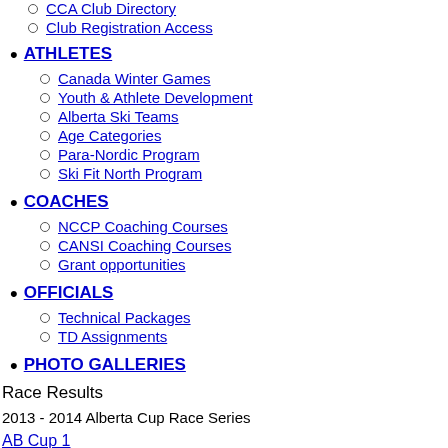CCA Club Directory
Club Registration Access
ATHLETES
Canada Winter Games
Youth & Athlete Development
Alberta Ski Teams
Age Categories
Para-Nordic Program
Ski Fit North Program
COACHES
NCCP Coaching Courses
CANSI Coaching Courses
Grant opportunities
OFFICIALS
Technical Packages
TD Assignments
PHOTO GALLERIES
Race Results
2013 - 2014 Alberta Cup Race Series
AB Cup 1
AB Cup 2